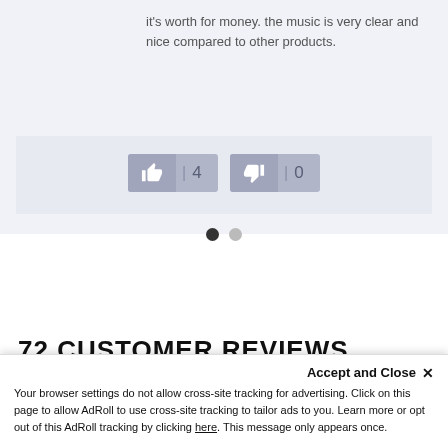it's worth for money. the music is very clear and nice compared to other products.
[Figure (other): Thumbs up button with count 4 and thumbs down button with count 0 (vote/helpful buttons for a product review)]
[Figure (other): Pagination dots: one filled dark dot and one light gray dot, indicating page 1 of 2]
72 CUSTOMER REVIEWS
Accept and Close ✕
Your browser settings do not allow cross-site tracking for advertising. Click on this page to allow AdRoll to use cross-site tracking to tailor ads to you. Learn more or opt out of this AdRoll tracking by clicking here. This message only appears once.